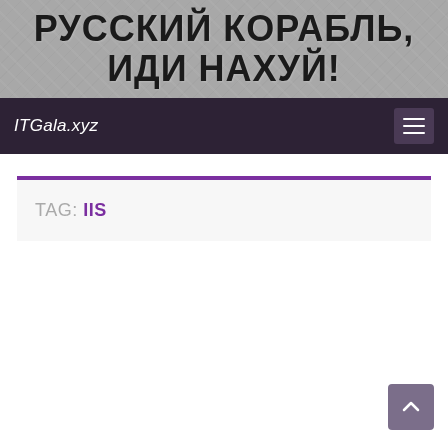[Figure (illustration): Banner image with textured/map background and bold Cyrillic text reading 'РУССКИЙ КОРАБЛЬ, ИДИ НАХУЙ!']
ITGala.xyz
TAG: IIS